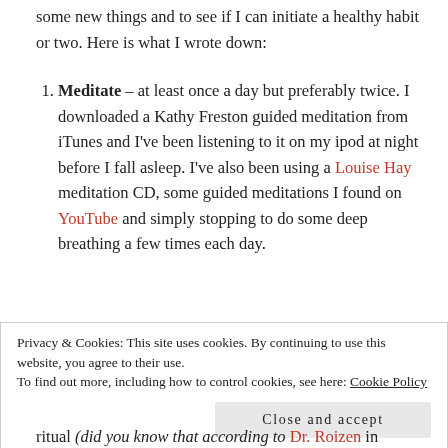some new things and to see if I can initiate a healthy habit or two. Here is what I wrote down:
Meditate – at least once a day but preferably twice. I downloaded a Kathy Freston guided meditation from iTunes and I've been listening to it on my ipod at night before I fall asleep. I've also been using a Louise Hay meditation CD, some guided meditations I found on YouTube and simply stopping to do some deep breathing a few times each day.
Privacy & Cookies: This site uses cookies. By continuing to use this website, you agree to their use.
To find out more, including how to control cookies, see here: Cookie Policy
Close and accept
ritual (did you know that according to Dr. Roizen in